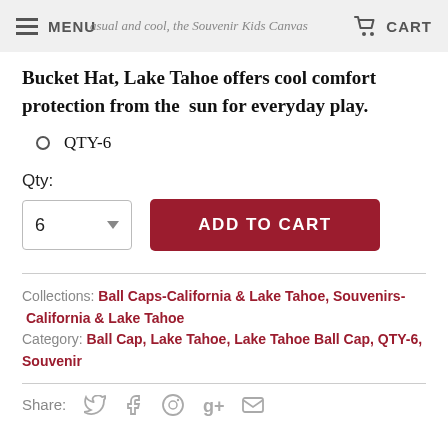MENU  CART
casual and cool, the Souvenir Kids Canvas Bucket Hat, Lake Tahoe offers cool comfort protection from the sun for everyday play.
QTY-6
Qty:
6  ADD TO CART
Collections: Ball Caps-California & Lake Tahoe, Souvenirs- California & Lake Tahoe
Category: Ball Cap, Lake Tahoe, Lake Tahoe Ball Cap, QTY-6, Souvenir
Share: